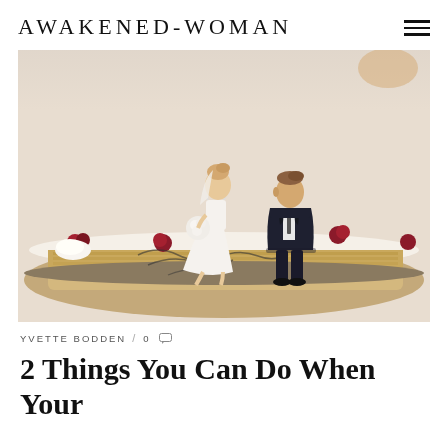AWAKENED-WOMAN
[Figure (photo): Wedding cake topper figurines showing a bride in a white dress holding a bouquet and a groom in a black suit, seated on a wedding cake decorated with raspberries and cream. The bride figurine leans toward the groom who sits turned slightly away.]
YVETTE BODDEN / 0
2 Things You Can Do When Your